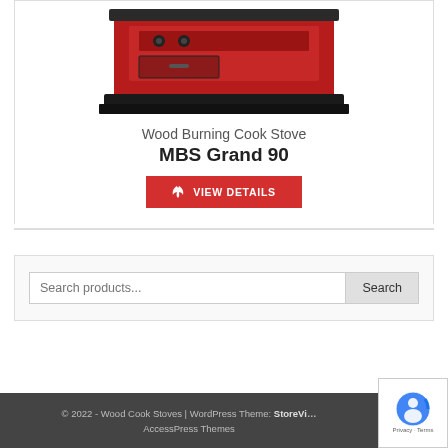[Figure (photo): Photo of a red MBS Grand 90 wood burning cook stove with dark gray trim, showing the bottom portion of the appliance on a white background.]
Wood Burning Cook Stove
MBS Grand 90
VIEW DETAILS
Search products...
© 2022 - Wood Cook Stoves | WordPress Theme: StoreVilla by AccessPress Themes